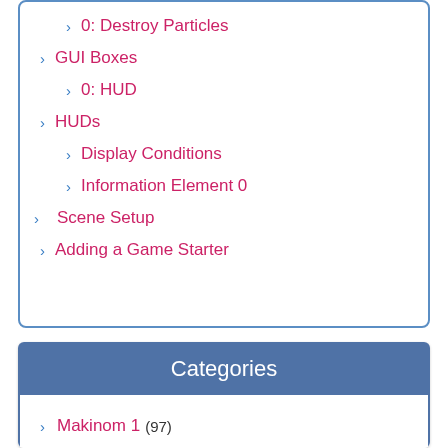0: Destroy Particles
GUI Boxes
0: HUD
HUDs
Display Conditions
Information Element 0
Scene Setup
Adding a Game Starter
Categories
Makinom 1 (97)
Tutorial (97)